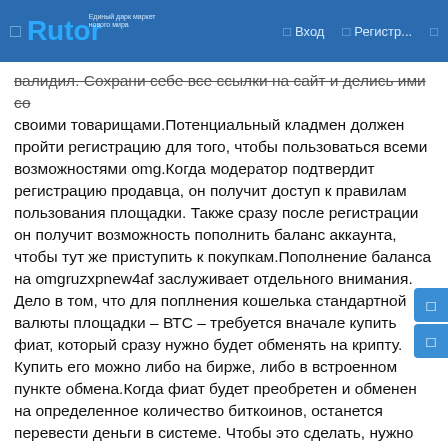Rutor | Вход | Регистр...
валидил. Сохрани себе все ссылки на сайт и делись ими со своими товарищами.Потенциальный кладмен должен пройти регистрацию для того, чтобы пользоваться всеми возможностями omg.Когда модератор подтвердит регистрацию продавца, он получит доступ к правилам пользования площадки. Также сразу после регистрации он получит возможность пополнить баланс аккаунта, чтобы тут же приступить к покупкам.Пополнение баланса на omgruzxpnew4af заслуживает отдельного внимания. Дело в том, что для поплнения кошелька стандартной валюты площадки – ВТС – требуется вначале купить фиат, который сразу нужно будет обменять на крипту. Купить его можно либо на бирже, либо в встроенном пункте обмена.Когда фиат будет преобретен и обменен на определенное количество биткоинов, останется перевести деньги в системе. Чтобы это сделать, нужно скопировать адрес биткоин кошелька, который был выдан при регистрации, и отправить на него нужную сумму посредством использования различных платежных систем (например, КИВИ). Также обмен в bitcoin может быть реализован на